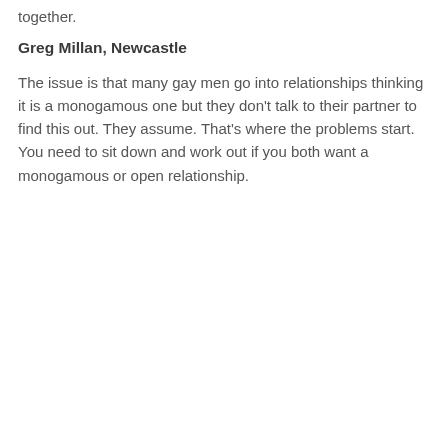together.
Greg Millan, Newcastle
The issue is that many gay men go into relationships thinking it is a monogamous one but they don't talk to their partner to find this out. They assume. That's where the problems start. You need to sit down and work out if you both want a monogamous or open relationship.